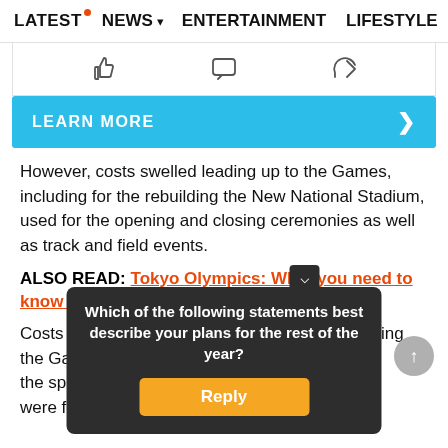LATEST  NEWS  ENTERTAINMENT  LIFESTYLE  EC>
[Figure (screenshot): Social interaction icons: thumbs up, comment bubble, share arrow]
LEARN MORE  >
However, costs swelled leading up to the Games, including for the rebuilding the New National Stadium, used for the opening and closing ceremonies as well as track and field events.
ALSO READ: Tokyo Olympics: What you need to know right now
Costs also surged in connection with postponing the Games … to prevent the spread … Games were fi… 21.
Which of the following statements best describe your plans for the rest of the year?
Reply